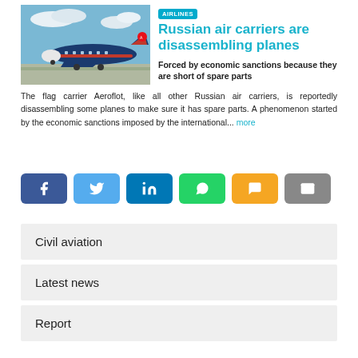[Figure (photo): Photo of a Russian Aeroflot aircraft on a runway with blue sky and clouds]
Russian air carriers are disassembling planes
Forced by economic sanctions because they are short of spare parts
The flag carrier Aeroflot, like all other Russian air carriers, is reportedly disassembling some planes to make sure it has spare parts. A phenomenon started by the economic sanctions imposed by the international... more
[Figure (infographic): Social share buttons: Facebook, Twitter, LinkedIn, WhatsApp, SMS, Email]
Civil aviation
Latest news
Report